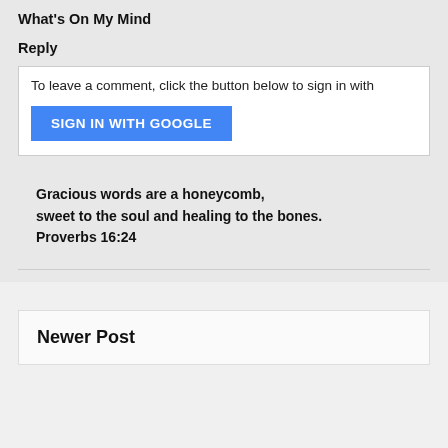What's On My Mind
Reply
To leave a comment, click the button below to sign in with
SIGN IN WITH GOOGLE
Gracious words are a honeycomb,
sweet to the soul and healing to the bones.
Proverbs 16:24
Newer Post